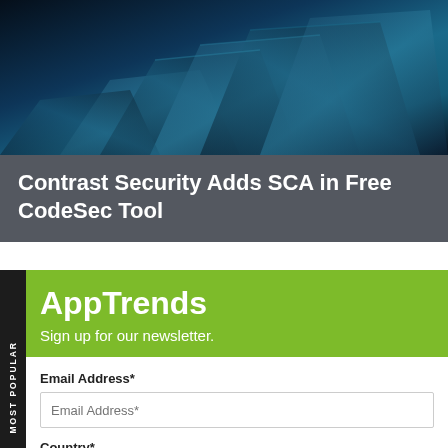[Figure (photo): Dark blue metallic gear/turbine blades photograph with teal highlights]
Contrast Security Adds SCA in Free CodeSec Tool
[Figure (other): MOST POPULAR vertical sidebar tab]
AppTrends
Sign up for our newsletter.
Email Address*
Country*